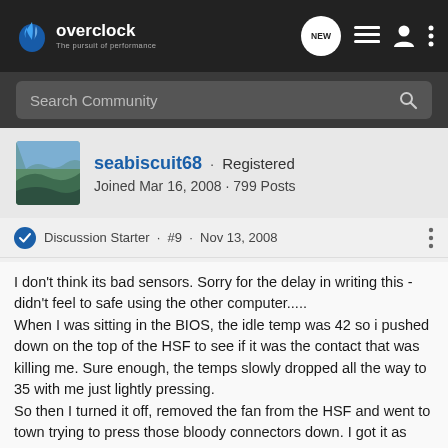overclock · The pursuit of performance
Search Community
seabiscuit68 · Registered
Joined Mar 16, 2008 · 799 Posts
Discussion Starter · #9 · Nov 13, 2008
I don't think its bad sensors. Sorry for the delay in writing this - didn't feel to safe using the other computer.....
When I was sitting in the BIOS, the idle temp was 42 so i pushed down on the top of the HSF to see if it was the contact that was killing me. Sure enough, the temps slowly dropped all the way to 35 with me just lightly pressing.
So then I turned it off, removed the fan from the HSF and went to town trying to press those bloody connectors down. I got it as rock solid as possible (aka, any little bump and one side comes loose), more so than it was at least. Then I booted to windows. I